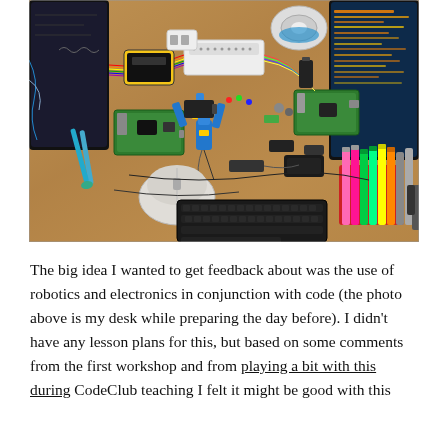[Figure (photo): Overhead photo of a cluttered maker/electronics workbench with Raspberry Pi boards, circuit boards, breadboards, colorful ribbon cables, a blue robotic arm, a computer mouse, a black keyboard, colorful marker pens in a holder, soldering tools, batteries, a spool of wire, and computer monitors in the background on a wooden desk surface.]
The big idea I wanted to get feedback about was the use of robotics and electronics in conjunction with code (the photo above is my desk while preparing the day before). I didn't have any lesson plans for this, but based on some comments from the first workshop and from playing a bit with this during CodeClub teaching I felt it might be good with this